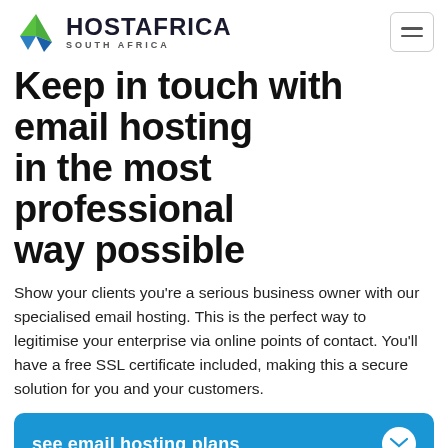HOSTAFRICA SOUTH AFRICA
Keep in touch with email hosting in the most professional way possible
Show your clients you're a serious business owner with our specialised email hosting. This is the perfect way to legitimise your enterprise via online points of contact. You'll have a free SSL certificate included, making this a secure solution for you and your customers.
see email hosting plans